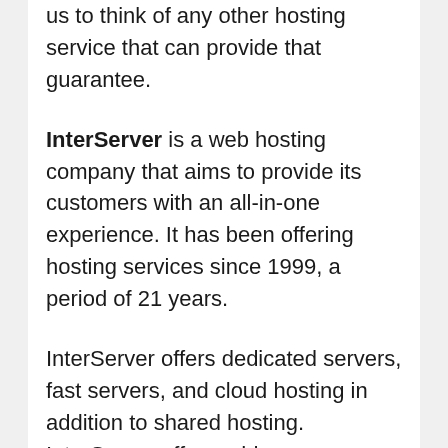us to think of any other hosting service that can provide that guarantee.
InterServer is a web hosting company that aims to provide its customers with an all-in-one experience. It has been offering hosting services since 1999, a period of 21 years.
InterServer offers dedicated servers, fast servers, and cloud hosting in addition to shared hosting. InterServer offers addresses, domain names, and a website builder in addition to hosting.